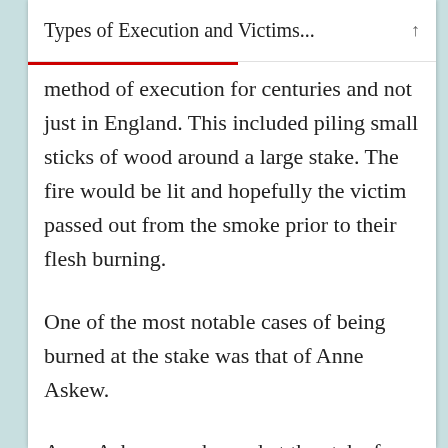Types of Execution and Victims...
method of execution for centuries and not just in England. This included piling small sticks of wood around a large stake. The fire would be lit and hopefully the victim passed out from the smoke prior to their flesh burning.
One of the most notable cases of being burned at the stake was that of Anne Askew.
Anne Askew was burned at the stake for her religious beliefs – she was Protestant and the powers that be were attempting to get